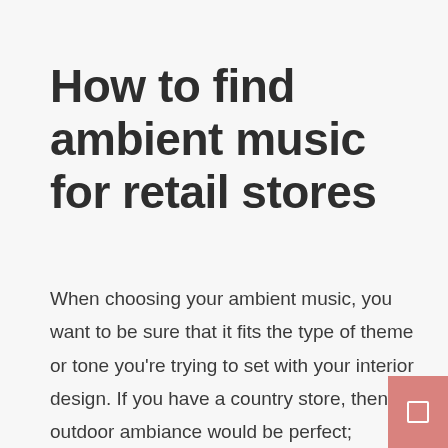How to find ambient music for retail stores
When choosing your ambient music, you want to be sure that it fits the type of theme or tone you're trying to set with your interior design. If you have a country store, then an outdoor ambiance would be perfect; classical music might be most suitable if you sell upscale fashion. Some businesses even choose to use music specifically designed for retail stores. Whichever way you choose to play it, ambient music will create a more relaxing and satisfying shopping